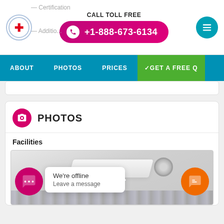CALL TOLL FREE +1-888-673-6134
ABOUT  PHOTOS  PRICES  ✓GET A FREE Q
PHOTOS
Facilities
[Figure (photo): Interior ceiling photo showing a white ceiling panel and circular HVAC vent, with curtain fabric visible at the bottom of the frame. Chat widgets and offline popup overlay the image.]
We're offline
Leave a message